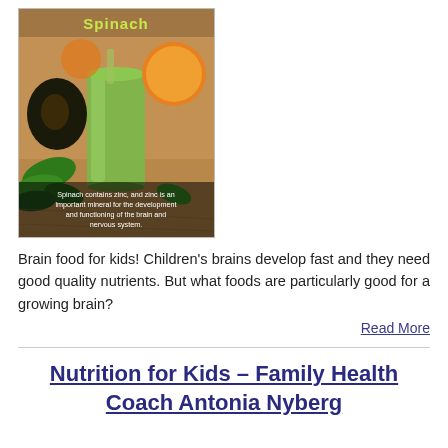[Figure (photo): Photo of a green spinach smoothie in a glass with an avocado, oranges, and spinach leaves on a wooden surface. Title 'Spinach' at top in green text. Caption at bottom: 'Spinach contains zinc, and zinc is an important mineral for the development and functioning of the brain and nervous system.']
Brain food for kids! Children's brains develop fast and they need good quality nutrients. But what foods are particularly good for a growing brain?
Read More
Nutrition for Kids – Family Health Coach Antonia Nyberg